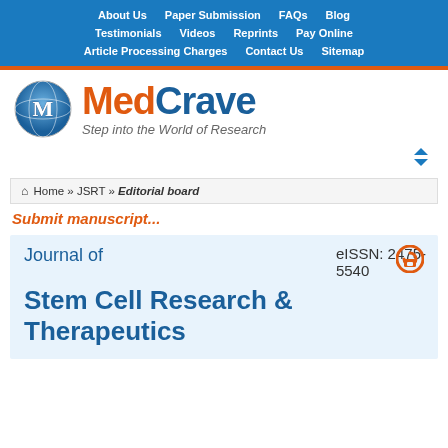About Us  Paper Submission  FAQs  Blog  Testimonials  Videos  Reprints  Pay Online  Article Processing Charges  Contact Us  Sitemap
[Figure (logo): MedCrave logo with globe/M icon and text 'MedCrave - Step into the World of Research']
Home » JSRT » Editorial board
Submit manuscript...
Journal of  eISSN: 2475-5540
Stem Cell Research & Therapeutics